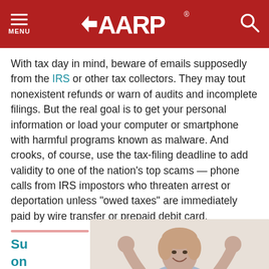AARP
With tax day in mind, beware of emails supposedly from the IRS or other tax collectors. They may tout nonexistent refunds or warn of audits and incomplete filings. But the real goal is to get your personal information or load your computer or smartphone with harmful programs known as malware. And crooks, of course, use the tax-filing deadline to add validity to one of the nation's top scams — phone calls from IRS impostors who threaten arrest or deportation unless "owed taxes" are immediately paid by wire transfer or prepaid debit card.
Su
on
Alw
yo
tha
not
[Figure (photo): Woman with short blonde hair sitting cross-legged, smiling with fists raised in celebration, with a laptop in front of her, wearing a light blue shirt and jeans.]